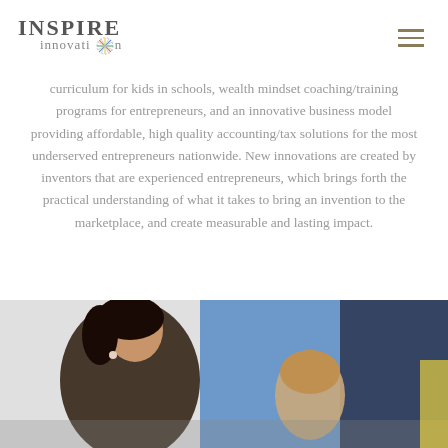INSPIRE innovation
curriculum for kids in schools, wealth mindset coaching/training programs for entrepreneurs, and an innovative business model providing affordable, high quality accounting/tax solutions for the most underserved entrepreneurs nationwide. New innovations are created by inventors that are experienced entrepreneurs, which brings forth the practical understanding of what it takes to bring an invention to the marketplace, and create measurable and lasting impact.
[Figure (photo): A woman with dark hair leaning over, helping a young girl, likely in a classroom or educational setting. Blue and dark colored background.]